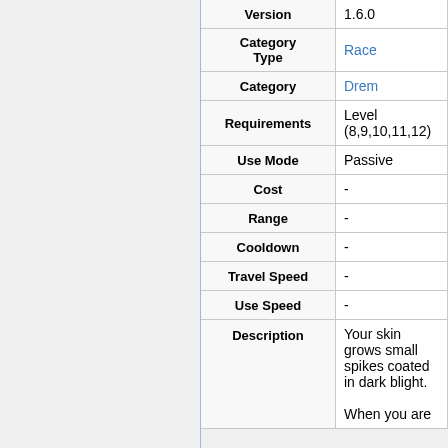| Property | Value |
| --- | --- |
| Version | 1.6.0 |
| Category Type | Race |
| Category | Drem |
| Requirements | Level (8,9,10,11,12) |
| Use Mode | Passive |
| Cost | - |
| Range | - |
| Cooldown | - |
| Travel Speed | - |
| Use Speed | - |
| Description | Your skin grows small spikes coated in dark blight. When you are |